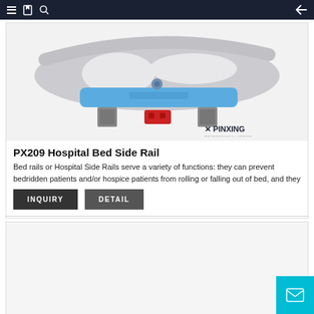Navigation bar with menu, bookmark, search, and back icons
[Figure (photo): Hospital bed side rail product photo — grey plastic rail with two hand-hold cutouts, blue padded section, and metal mounting bracket with red safety latch. Pinxing brand logo in lower right corner.]
PX209 Hospital Bed Side Rail
Bed rails or Hospital Side Rails serve a variety of functions: they can prevent bedridden patients and/or hospice patients from rolling or falling out of bed, and they
INQUIRY
DETAIL
[Figure (photo): Second product card, partially visible at bottom of page with mail/contact icon button in lower right.]